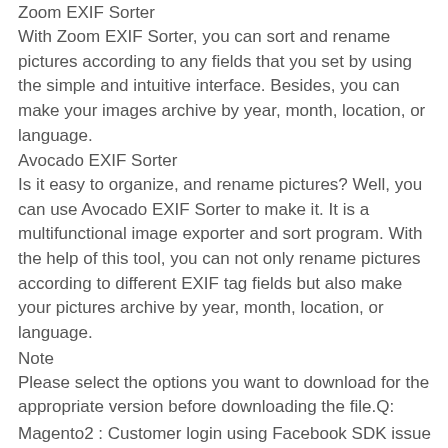Zoom EXIF Sorter
With Zoom EXIF Sorter, you can sort and rename pictures according to any fields that you set by using the simple and intuitive interface. Besides, you can make your images archive by year, month, location, or language.
Avocado EXIF Sorter
Is it easy to organize, and rename pictures? Well, you can use Avocado EXIF Sorter to make it. It is a multifunctional image exporter and sort program. With the help of this tool, you can not only rename pictures according to different EXIF tag fields but also make your pictures archive by year, month, location, or language.
Note
Please select the options you want to download for the appropriate version before downloading the file.Q:
Magento2 : Customer login using Facebook SDK issue